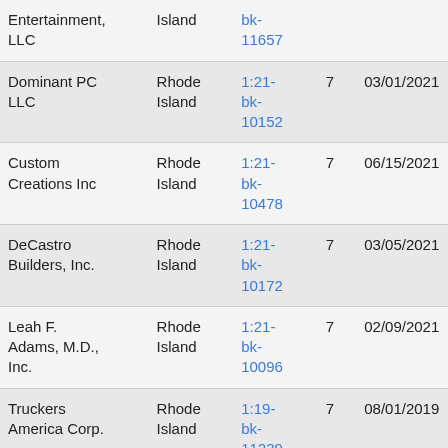| Name | District | Case | Ch | Filed |  |
| --- | --- | --- | --- | --- | --- |
| Entertainment, LLC | Rhode Island | bk-11657 |  |  | 05/... |
| Dominant PC LLC | Rhode Island | 1:21-bk-10152 | 7 | 03/01/2021 | 05/... |
| Custom Creations Inc | Rhode Island | 1:21-bk-10478 | 7 | 06/15/2021 |  |
| DeCastro Builders, Inc. | Rhode Island | 1:21-bk-10172 | 7 | 03/05/2021 | 08/... |
| Leah F. Adams, M.D., Inc. | Rhode Island | 1:21-bk-10096 | 7 | 02/09/2021 | 04/... |
| Truckers America Corp. | Rhode Island | 1:19-bk-11239 | 7 | 08/01/2019 |  |